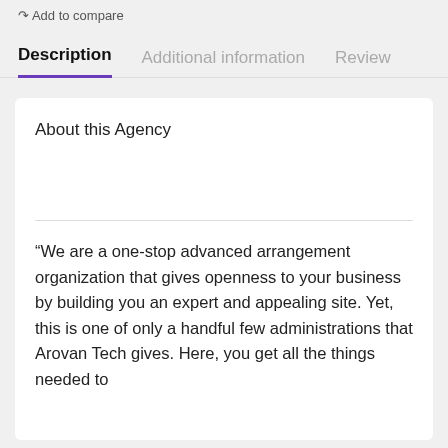Add to compare
Description
Additional information
Review
About this Agency
“We are a one-stop advanced arrangement organization that gives openness to your business by building you an expert and appealing site. Yet, this is one of only a handful few administrations that Arovan Tech gives. Here, you get all the things needed to